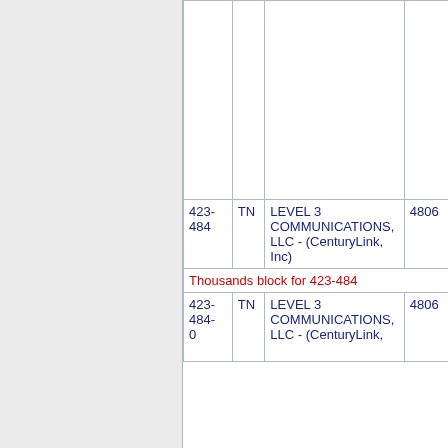| NPA | ST | Company | Rate Center |
| --- | --- | --- | --- |
| 423-484 | TN | LEVEL 3 COMMUNICATIONS, LLC - (CenturyLink, Inc) | 4806 |
| Thousands block for 423-484 |  |  |  |
| 423-484-0 | TN | LEVEL 3 COMMUNICATIONS, LLC - (CenturyLink, | 4806 |